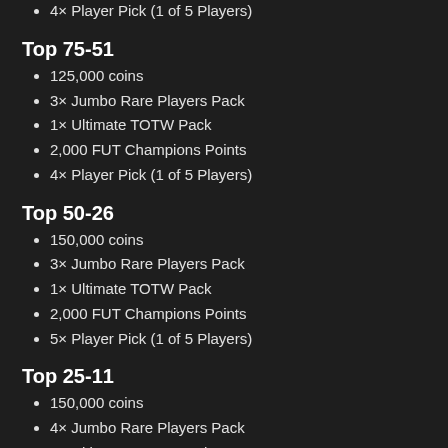4× Player Pick (1 of 5 Players)
Top 75-51
125,000 coins
3× Jumbo Rare Players Pack
1× Ultimate TOTW Pack
2,000 FUT Champions Points
4× Player Pick (1 of 5 Players)
Top 50-26
150,000 coins
3× Jumbo Rare Players Pack
1× Ultimate TOTW Pack
2,000 FUT Champions Points
5× Player Pick (1 of 5 Players)
Top 25-11
150,000 coins
4× Jumbo Rare Players Pack
1× Ultimate TOTW Pack